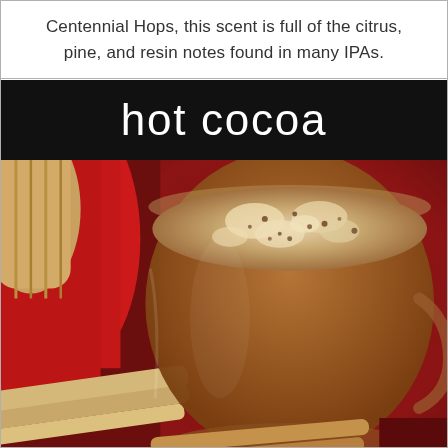Centennial Hops, this scent is full of the citrus, pine, and resin notes found in many IPAs.
[Figure (photo): Photo of a glass mug of hot cocoa topped with frothy milk and cocoa powder, with cinnamon sticks and a red background. Above the photo is a black banner with white text reading 'hot cocoa'.]